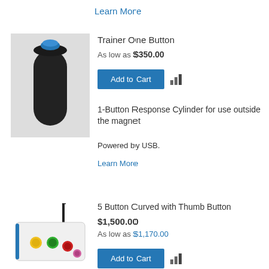Learn More
[Figure (photo): Black cylindrical trainer device with blue top button]
Trainer One Button
As low as $350.00
Add to Cart
1-Button Response Cylinder for use outside the magnet
Powered by USB.
Learn More
[Figure (photo): White rectangular response device with yellow, green, red and pink buttons and a black cable]
5 Button Curved with Thumb Button
$1,500.00
As low as $1,170.00
Add to Cart